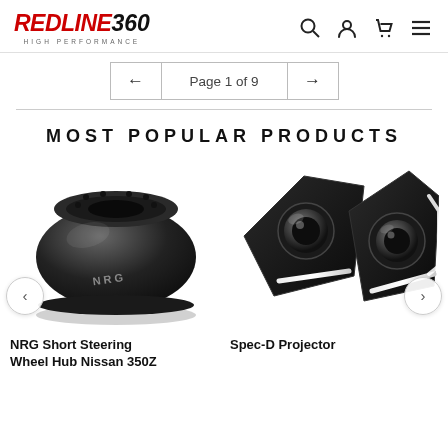REDLINE360 HIGH PERFORMANCE — navigation header with search, account, cart, menu icons
Page 1 of 9
MOST POPULAR PRODUCTS
[Figure (photo): NRG Short Steering Wheel Hub adapter, black anodized aluminum, viewed from above at an angle]
NRG Short Steering Wheel Hub Nissan 350Z
[Figure (photo): Spec-D Projector headlights, black housing with LED accents, open/exploded view showing projector lenses]
Spec-D Projector